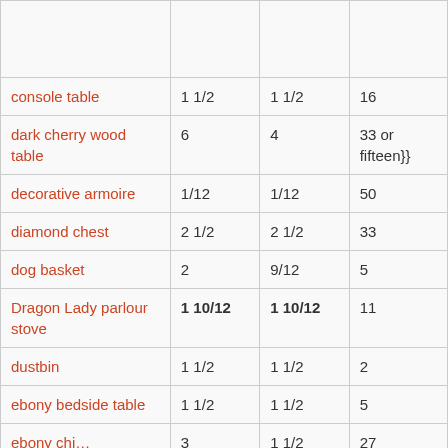| Item | Col2 | Col3 | Col4 |
| --- | --- | --- | --- |
|  |  |  |  |
| console table | 1 1/2 | 1 1/2 | 16 |
| dark cherry wood table | 6 | 4 | 33 or fifteen}} |
| decorative armoire | 1/12 | 1/12 | 50 |
| diamond chest | 2 1/2 | 2 1/2 | 33 |
| dog basket | 2 | 9/12 | 5 |
| Dragon Lady parlour stove | 1 10/12 | 1 10/12 | 11 |
| dustbin | 1 1/2 | 1 1/2 | 2 |
| ebony bedside table | 1 1/2 | 1 1/2 | 5 |
| ebony ... | 3 | 1 1/2 | 27 |